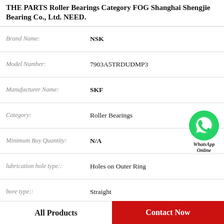THE PARTS Roller Bearings Category FOG Shanghai Shengjie Bearing Co., Ltd. NEED.
| Attribute | Value |
| --- | --- |
| Brand Name: | NSK |
| Model Number: | 7903A5TRDUDMP3 |
| Manufacturer Name: | SKF |
| Category: | Roller Bearings |
| Minimum Buy Quantity: | N/A |
| lubrication hole type:: | Holes on Outer Ring |
| bore type:: | Straight |
| outside diameter:: | 540 mm |
[Figure (logo): WhatsApp Online green phone icon badge with text 'WhatsApp Online']
All Products    Contact Now